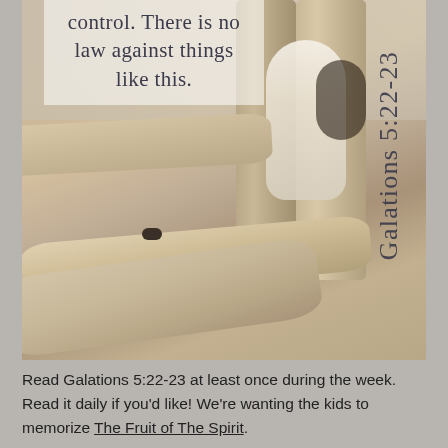[Figure (photo): A black and white animal (goat or similar) standing on wooden fence logs/posts, with a bird visible below. The image has a warm, aged, sepia-toned look.]
control. There is no law against things like this.
Galations 5:22-23
Read Galations 5:22-23 at least once during the week. Read it daily if you'd like! We're wanting the kids to memorize The Fruit of The Spirit.